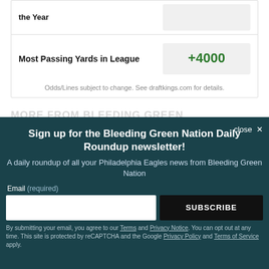| Category | Odds |
| --- | --- |
| the Year |  |
| Most Passing Yards in League | +4000 |
Odds/Lines subject to change. See draftkings.com for details.
MORE FROM BLEEDING GREEN
[Figure (other): Newsletter signup modal overlay with teal background. Title: Sign up for the Bleeding Green Nation Daily Roundup newsletter! Subtitle: A daily roundup of all your Philadelphia Eagles news from Bleeding Green Nation. Email input field and SUBSCRIBE button. Legal disclaimer text at bottom.]